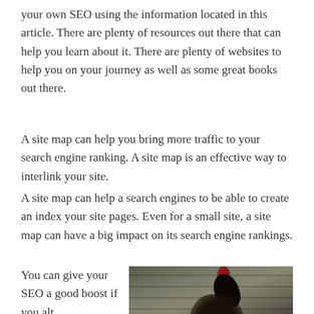your own SEO using the information located in this article. There are plenty of resources out there that can help you learn about it. There are plenty of websites to help you on your journey as well as some great books out there.
A site map can help you bring more traffic to your search engine ranking. A site map is an effective way to interlink your site.
A site map can help a search engines to be able to create an index your site pages. Even for a small site, a site map can have a big impact on its search engine rankings.
You can give your SEO a good boost if you alt...
[Figure (photo): A rooster or dark bird photographed up close on wooden plank surface, dark tones, horizontal wood grain visible in background]